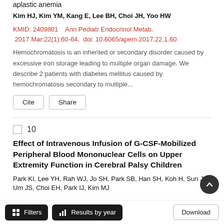aplastic anemia
Kim HJ, Kim YM, Kang E, Lee BH, Choi JH, Yoo HW
KMID: 2409801    Ann Pediatr Endocrinol Metab. 2017 Mar;22(1):60-64.  doi: 10.6065/apem.2017.22.1.60
Hemochromatosis is an inherited or secondary disorder caused by excessive iron storage leading to multiple organ damage. We describe 2 patients with diabetes mellitus caused by hemochromatosis secondary to multiple...
10
Effect of Intravenous Infusion of G-CSF-Mobilized Peripheral Blood Mononuclear Cells on Upper Extremity Function in Cerebral Palsy Children
Park KI, Lee YH, Rah WJ, Jo SH, Park SB, Han SH, Koh H, Sun JY, Um JS, Choi EH, Park IJ, Kim MJ
Filters    Results by year    Download